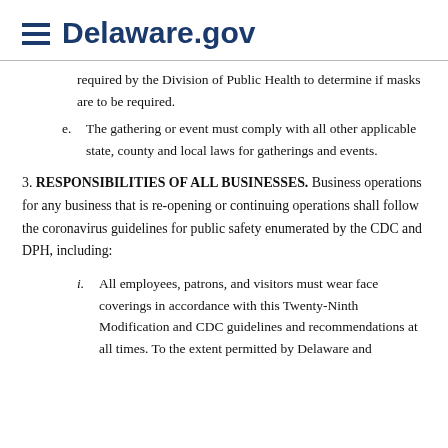Delaware.gov
required by the Division of Public Health to determine if masks are to be required.
e. The gathering or event must comply with all other applicable state, county and local laws for gatherings and events.
3. RESPONSIBILITIES OF ALL BUSINESSES. Business operations for any business that is re-opening or continuing operations shall follow the coronavirus guidelines for public safety enumerated by the CDC and DPH, including:
i. All employees, patrons, and visitors must wear face coverings in accordance with this Twenty-Ninth Modification and CDC guidelines and recommendations at all times. To the extent permitted by Delaware and